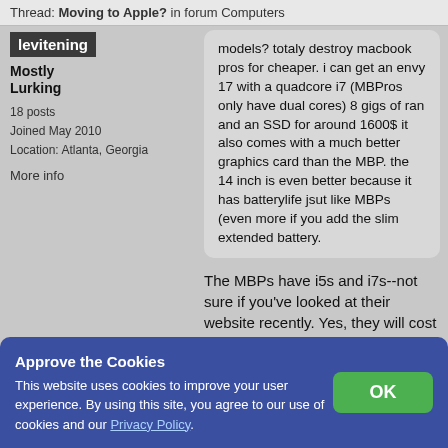Thread: Moving to Apple? in forum Computers
levitening
Mostly Lurking
18 posts
Joined May 2010
Location: Atlanta, Georgia
More info
models? totaly destroy macbook pros for cheaper. i can get an envy 17 with a quadcore i7 (MBPros only have dual cores) 8 gigs of ran and an SSD for around 1600$ it also comes with a much better graphics card than the MBP. the 14 inch is even better because it has batterylife jsut like MBPs (even more if you add the slim extended battery.
The MBPs have i5s and i7s--not sure if you've looked at their website recently. Yes, they will cost more. However, Apple in general aims for quality...and the simple things like the MBP's trackpad sell the laptop for me.
as for desktops, the imacs are almost equal to PC equivilents bcecause of the cost of the display itself. Mac Pros are also more than PC equivilents.
Approve the Cookies
This website uses cookies to improve your user experience. By using this site, you agree to our use of cookies and our Privacy Policy.